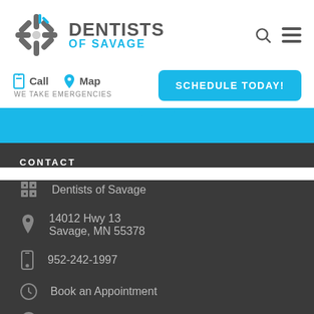[Figure (logo): Dentists of Savage logo with asterisk/snowflake icon in gray and blue, with text DENTISTS in dark gray and OF SAVAGE in cyan blue]
DENTISTS OF SAVAGE
Call  Map  WE TAKE EMERGENCIES
SCHEDULE TODAY!
CONTACT
Dentists of Savage
14012 Hwy 13
Savage, MN 55378
952-242-1997
Book an Appointment